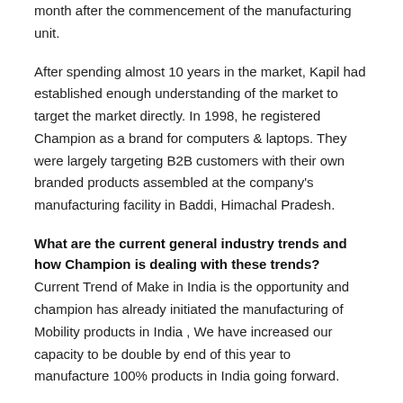month after the commencement of the manufacturing unit.
After spending almost 10 years in the market, Kapil had established enough understanding of the market to target the market directly. In 1998, he registered Champion as a brand for computers & laptops. They were largely targeting B2B customers with their own branded products assembled at the company's manufacturing facility in Baddi, Himachal Pradesh.
What are the current general industry trends and how Champion is dealing with these trends?
Current Trend of Make in India is the opportunity and champion has already initiated the manufacturing of Mobility products in India , We have increased our capacity to be double by end of this year to manufacture 100% products in India going forward.